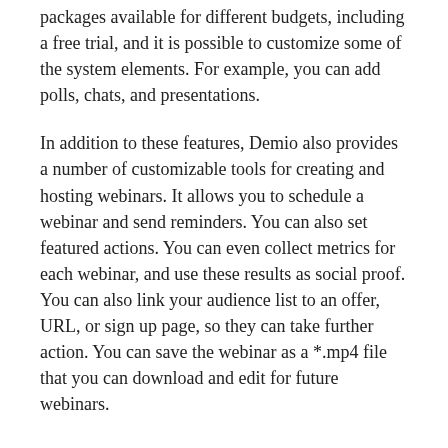packages available for different budgets, including a free trial, and it is possible to customize some of the system elements. For example, you can add polls, chats, and presentations.
In addition to these features, Demio also provides a number of customizable tools for creating and hosting webinars. It allows you to schedule a webinar and send reminders. You can also set featured actions. You can even collect metrics for each webinar, and use these results as social proof. You can also link your audience list to an offer, URL, or sign up page, so they can take further action. You can save the webinar as a *.mp4 file that you can download and edit for future webinars.